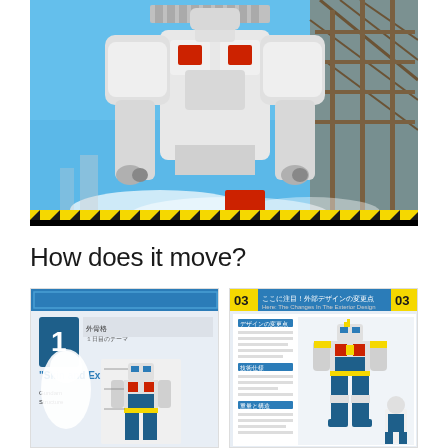[Figure (photo): Large moving Gundam robot statue photographed from below, showing white mecha torso and arms against a blue sky with construction scaffolding in the background. A hazard-striped barrier is visible at the bottom.]
How does it move?
[Figure (photo): Close-up of an exhibition panel showing a diagram of the Gundam robot with Japanese text and labeled sections, with the number 1 visible and text 'Skin and Ex...']
[Figure (photo): Exhibition display panel number 03 showing the internal design changes of the Gundam robot, with Japanese text and an illustration of the Gundam.]